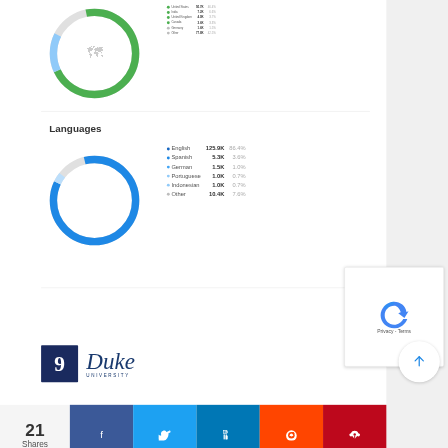[Figure (donut-chart): Countries]
Languages
[Figure (donut-chart): Languages]
[Figure (logo): Duke University logo with rank number 9 in dark blue box]
21 Shares